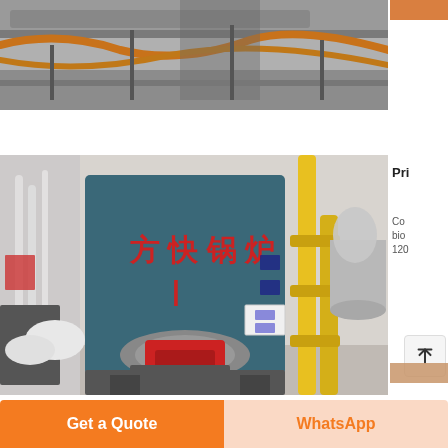[Figure (photo): Industrial boiler room equipment photo strip at top of page, showing pipes, metal structures and industrial machinery from above angle]
[Figure (photo): Industrial boiler room with large blue boiler tank labeled 方快锅炉 (Fangkuai Boiler) in red Chinese characters, red burner at base, yellow gas pipes on right, silver cylindrical tanks, white pipes along walls]
Pri
Co bio 120
[Figure (photo): Bottom strip photo of industrial equipment components including yellow and metallic parts]
Ma
Get a Quote
WhatsApp